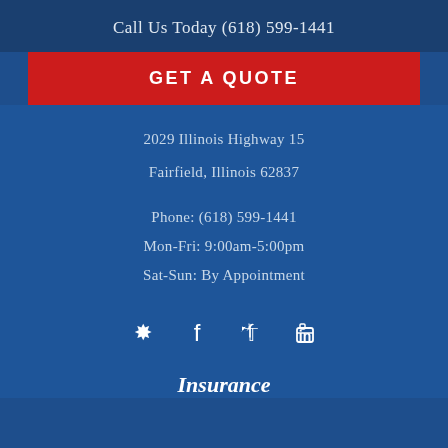Call Us Today (618) 599-1441
GET A QUOTE
2029 Illinois Highway 15
Fairfield, Illinois 62837
Phone: (618) 599-1441
Mon-Fri: 9:00am-5:00pm
Sat-Sun: By Appointment
[Figure (infographic): Social media icons row: Yelp, Facebook, Twitter, LinkedIn]
Insurance